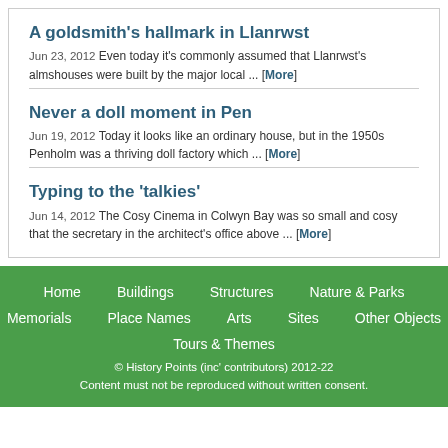A goldsmith's hallmark in Llanrwst
Jun 23, 2012 Even today it's commonly assumed that Llanrwst's almshouses were built by the major local ... [More]
Never a doll moment in Pen
Jun 19, 2012 Today it looks like an ordinary house, but in the 1950s Penholm was a thriving doll factory which ... [More]
Typing to the 'talkies'
Jun 14, 2012 The Cosy Cinema in Colwyn Bay was so small and cosy that the secretary in the architect's office above ... [More]
Home  Buildings  Structures  Nature & Parks  Memorials  Place Names  Arts  Sites  Other Objects  Tours & Themes  © History Points (inc' contributors) 2012-22  Content must not be reproduced without written consent.